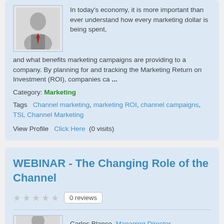In today's economy, it is more important than ever understand how every marketing dollar is being spent, and what benefits marketing campaigns are providing to a company. By planning for and tracking the Marketing Return on Investment (ROI), companies ca ...
Category: Marketing
Tags  Channel marketing, marketing ROI, channel campaigns, TSL Channel Marketing
View Profile  Click Here  (0 visits)
WEBINAR - The Changing Role of the Channel
0 reviews
Carlos Blanco, Managing Director,